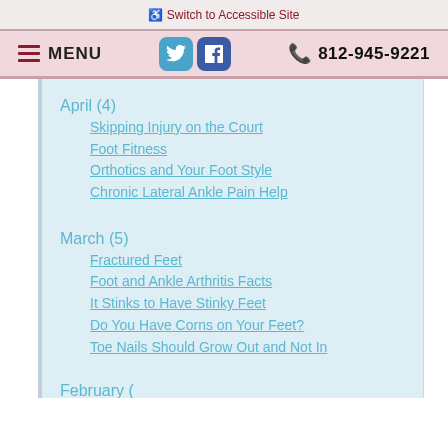♿ Switch to Accessible Site
≡ MENU  [Twitter] [Facebook]  📞 812-945-9221
April (4)
Skipping Injury on the Court
Foot Fitness
Orthotics and Your Foot Style
Chronic Lateral Ankle Pain Help
March (5)
Fractured Feet
Foot and Ankle Arthritis Facts
It Stinks to Have Stinky Feet
Do You Have Corns on Your Feet?
Toe Nails Should Grow Out and Not In
February (